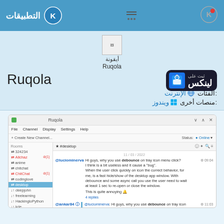التطبيقات - KDE
[Figure (screenshot): App store page for Ruqola showing icon, title, categories, and a screenshot of the application]
Ruqola
الفئات: الإنترنت
منصات أخرى: ويندوز